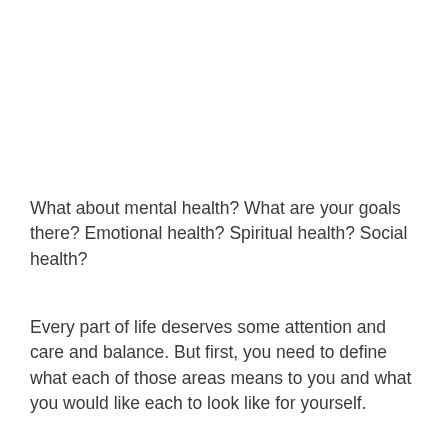What about mental health? What are your goals there? Emotional health? Spiritual health? Social health?
Every part of life deserves some attention and care and balance. But first, you need to define what each of those areas means to you and what you would like each to look like for yourself.